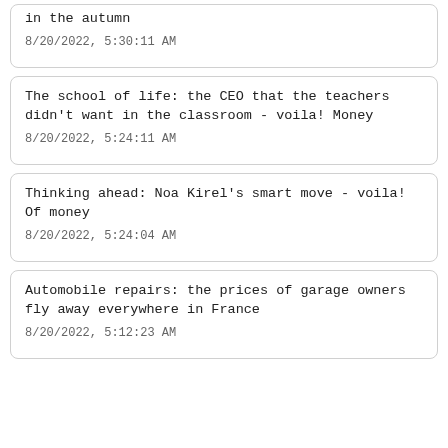in the autumn
8/20/2022, 5:30:11 AM
The school of life: the CEO that the teachers didn't want in the classroom - voila! Money
8/20/2022, 5:24:11 AM
Thinking ahead: Noa Kirel's smart move - voila! Of money
8/20/2022, 5:24:04 AM
Automobile repairs: the prices of garage owners fly away everywhere in France
8/20/2022, 5:12:23 AM